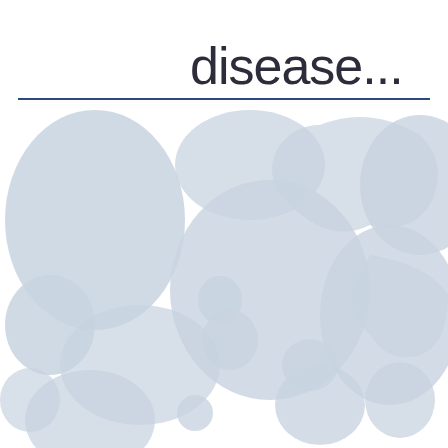disease...
[Figure (illustration): Abstract background illustration of light blue-grey blob/cell shapes of varying sizes scattered across a white background, suggesting a microscopic or cellular theme related to disease.]